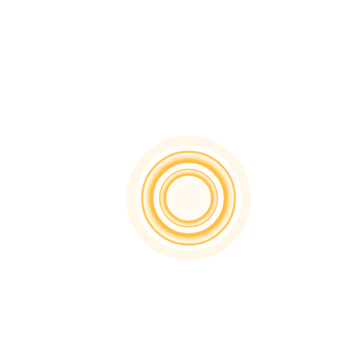[Figure (other): Concentric circles with a warm golden-orange gradient glow on a white background, centered slightly right of middle and in the lower half of the page. Two rings visible: an outer larger circle and an inner smaller circle, both rendered with a soft orange/amber gradient that fades to white toward the edges, creating a glowing effect.]